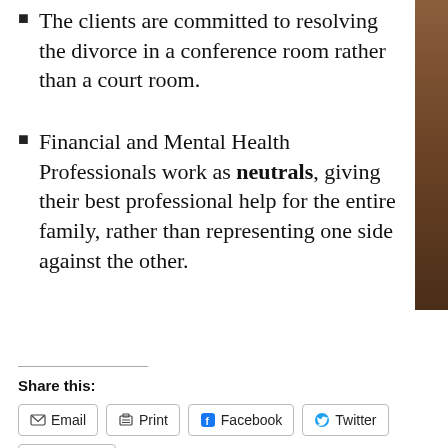The clients are committed to resolving the divorce in a conference room rather than a court room.
Financial and Mental Health Professionals work as neutrals, giving their best professional help for the entire family, rather than representing one side against the other.
Share this:
Email  Print  Facebook  Twitter  LinkedIn
Loading...